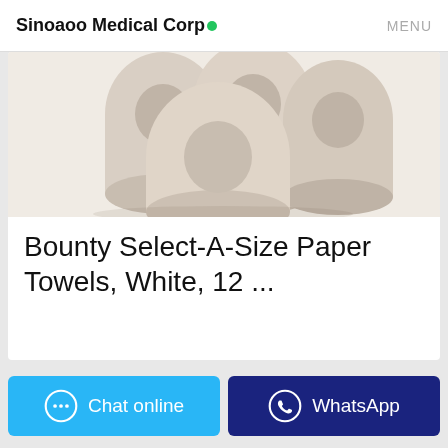Sinoaoo Medical Corp● MENU
[Figure (photo): Photo of paper towel rolls stacked together, beige/tan color, shown from a slight angle on a white background]
Bounty Select-A-Size Paper Towels, White, 12 ...
Amazon Brand - Presto! 308-Sheet Mega Roll Toilet Paper, Ultra-Soft, 6 Count 4.6 out of 5 stars 7,062 Bounty Select-A-Size Paper Towels, White, 8 Double ...
Chat online
WhatsApp